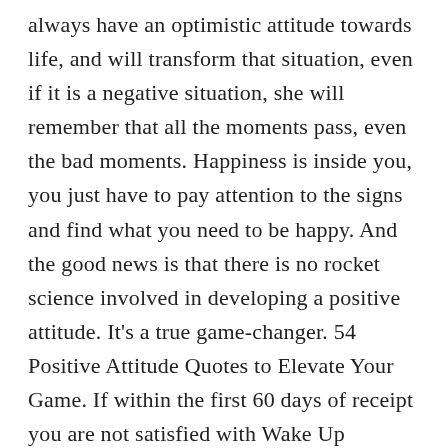always have an optimistic attitude towards life, and will transform that situation, even if it is a negative situation, she will remember that all the moments pass, even the bad moments. Happiness is inside you, you just have to pay attention to the signs and find what you need to be happy. And the good news is that there is no rocket science involved in developing a positive attitude. It's a true game-changer. 54 Positive Attitude Quotes to Elevate Your Game. If within the first 60 days of receipt you are not satisfied with Wake Up Lean™, you can request a refund by sending an email to the address given inside the product and we will immediately refund your entire purchase price, with no questions asked. Share on Facebook Share. Harris Bringing Great Energy and Positive Attitude Every Game. December 2, 2020 12:51 PM Toronto Raptors' … It will take a thought and wait for your first emotional weakness...